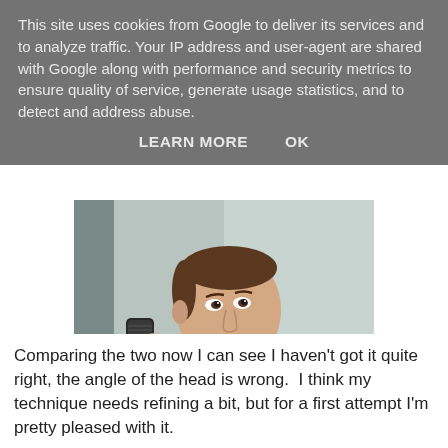This site uses cookies from Google to deliver its services and to analyze traffic. Your IP address and user-agent are shared with Google along with performance and security metrics to ensure quality of service, generate usage statistics, and to detect and address abuse.
LEARN MORE    OK
[Figure (photo): A man in a dark suit with a patterned bow tie, holding a vintage microphone, looking sideways. The background is blurred.]
Comparing the two now I can see I haven't got it quite right, the angle of the head is wrong.  I think my technique needs refining a bit, but for a first attempt I'm pretty pleased with it.